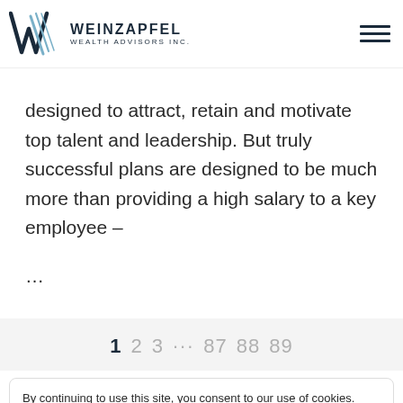Weinzapfel Wealth Advisors Inc.
designed to attract, retain and motivate top talent and leadership. But truly successful plans are designed to be much more than providing a high salary to a key employee – ...
1 2 3 ··· 87 88 89
By continuing to use this site, you consent to our use of cookies.